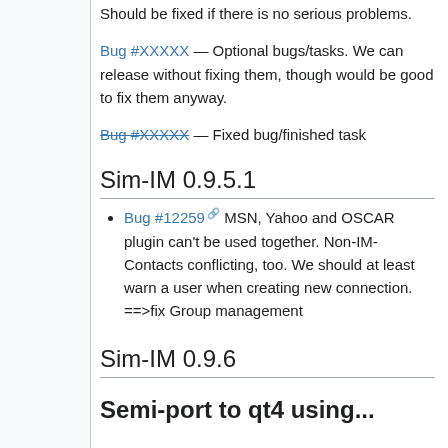Should be fixed if there is no serious problems.
Bug #XXXXX — Optional bugs/tasks. We can release without fixing them, though would be good to fix them anyway.
Bug #XXXXX — Fixed bug/finished task
Sim-IM 0.9.5.1
Bug #12259 MSN, Yahoo and OSCAR plugin can't be used together. Non-IM-Contacts conflicting, too. We should at least warn a user when creating new connection. ==>fix Group management
Sim-IM 0.9.6
Semi-port to qt4 using...